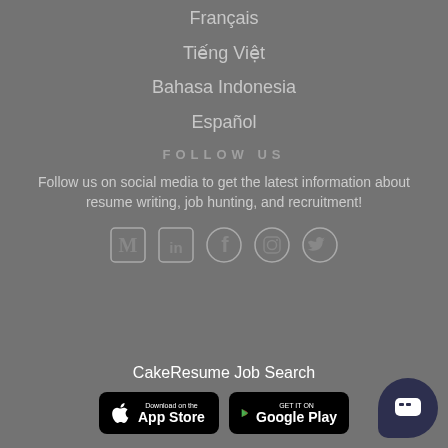Français
Tiếng Việt
Bahasa Indonesia
Español
FOLLOW US
Follow us on social media to get the latest information about resume writing, job hunting, and recruitment!
[Figure (infographic): Social media icons: Medium, LinkedIn, Facebook, Instagram, Twitter]
CakeResume Job Search
[Figure (infographic): App Store and Google Play download badges]